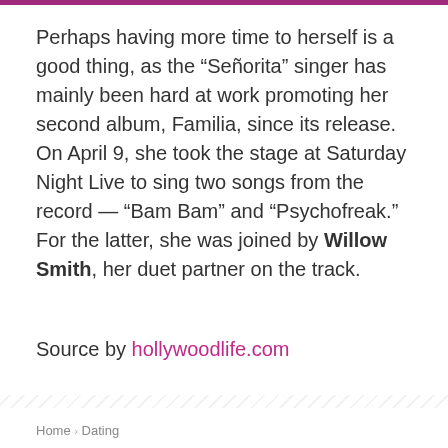Perhaps having more time to herself is a good thing, as the “Señorita” singer has mainly been hard at work promoting her second album, Familia, since its release. On April 9, she took the stage at Saturday Night Live to sing two songs from the record — “Bam Bam” and “Psychofreak.” For the latter, she was joined by Willow Smith, her duet partner on the track.
Source by hollywoodlife.com
Home › Dating